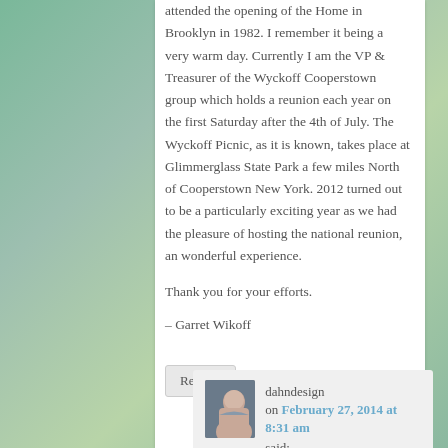attended the opening of the Home in Brooklyn in 1982. I remember it being a very warm day. Currently I am the VP & Treasurer of the Wyckoff Cooperstown group which holds a reunion each year on the first Saturday after the 4th of July. The Wyckoff Picnic, as it is known, takes place at Glimmerglass State Park a few miles North of Cooperstown New York. 2012 turned out to be a particularly exciting year as we had the pleasure of hosting the national reunion, an wonderful experience.
Thank you for your efforts.
– Garret Wikoff
Reply ↓
dahndesign on February 27, 2014 at 8:31 am said: